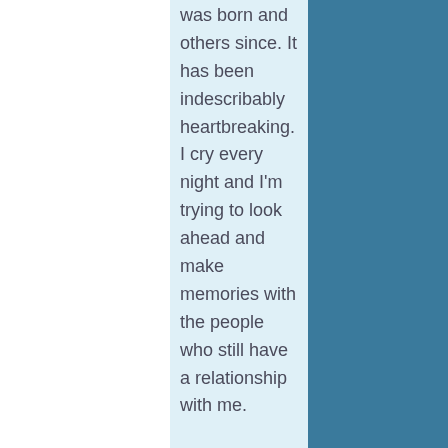was born and others since. It has been indescribably heartbreaking. I cry every night and I'm trying to look ahead and make memories with the people who still have a relationship with me.